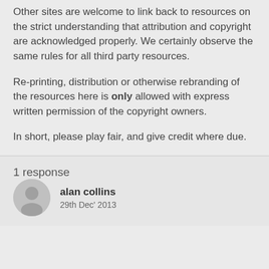Other sites are welcome to link back to resources on the strict understanding that attribution and copyright are acknowledged properly. We certainly observe the same rules for all third party resources.
Re-printing, distribution or otherwise rebranding of the resources here is only allowed with express written permission of the copyright owners.
In short, please play fair, and give credit where due.
1 response
alan collins
29th Dec' 2013